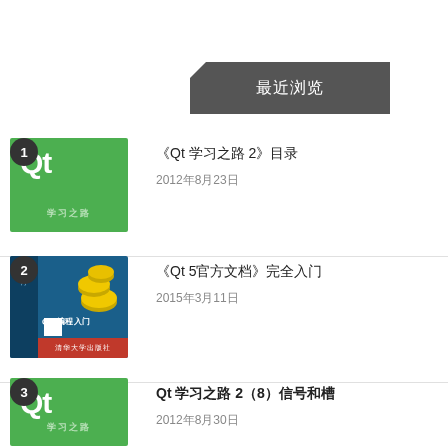最近浏览
《Qt 学习之路 2》目录
《Qt 5官方文档》完全入门
Qt 学习之路 2（8）信号和槽